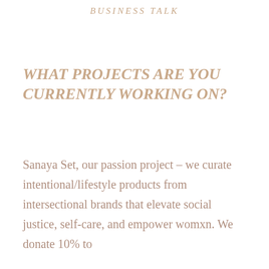BUSINESS TALK
WHAT PROJECTS ARE YOU CURRENTLY WORKING ON?
Sanaya Set, our passion project – we curate intentional/lifestyle products from intersectional brands that elevate social justice, self-care, and empower womxn. We donate 10% to